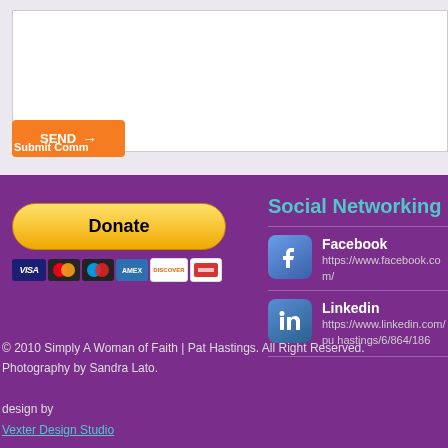[Figure (screenshot): White text input/comment box on light purple background]
[Figure (screenshot): Orange SEND button with arrow, overlaid with 'Submit Comm' text]
[Figure (screenshot): PayPal Donate button (yellow rounded) with payment card icons below: VISA, Mastercard, Maestro, Amex, Discover, and another card]
Social Networking
[Figure (screenshot): Facebook icon (blue rounded square with f logo)]
Facebook
https://www.facebook.com/
[Figure (screenshot): LinkedIn icon (blue rounded square with in logo)]
Linkedin
https://www.linkedin.com/pu hastings/6/864/186
© 2010 Simply A Woman of Faith | Pat Hastings. All Right Reserved.
Photography by Sandra Lato.

design by
Vexter Design Studio